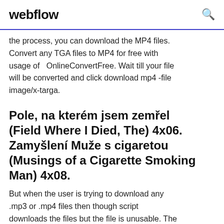webflow
the process, you can download the MP4 files. Convert any TGA files to MP4 for free with usage of   OnlineConvertFree. Wait till your file will be converted and click download mp4 -file image/x-targa.
Pole, na kterém jsem zemřel (Field Where I Died, The) 4x06. Zamyšlení Muže s cigaretou (Musings of a Cigarette Smoking Man) 4x08.
But when the user is trying to download any .mp3 or .mp4 files then though script downloads the files but the file is unusable. The